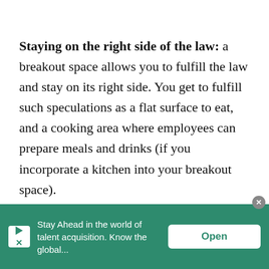Staying on the right side of the law: a breakout space allows you to fulfill the law and stay on its right side. You get to fulfill such speculations as a flat surface to eat, and a cooking area where employees can prepare meals and drinks (if you incorporate a kitchen into your breakout space).
Help employees stay healthy: sitting long